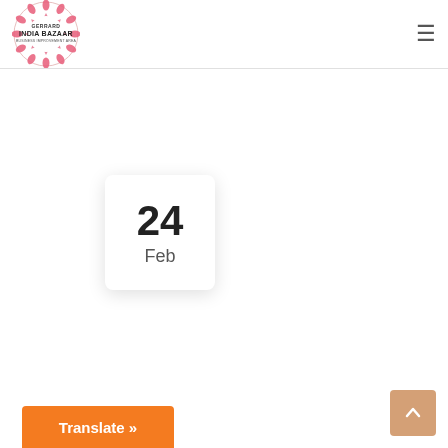[Figure (logo): Gerrard India Bazaar Business Improvement Area circular logo with decorative mandala pattern in pink and red]
[Figure (other): Hamburger menu icon (three horizontal lines) in top right of header]
[Figure (other): Calendar date card showing '24' in large bold text and 'Feb' below, white card with shadow]
[Figure (other): Orange 'Translate »' button at bottom left]
[Figure (other): Tan/orange scroll-to-top button with upward chevron arrow at bottom right]